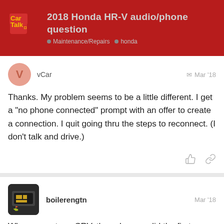2018 Honda HR-V audio/phone question | Maintenance/Repairs | honda
vCar — Mar '18
Thanks. My problem seems to be a little different. I get a “no phone connected” prompt with an offer to create a connection. I quit going thru the steps to reconnect. (I don’t talk and drive.)
boilerengtn — Mar '18
When we got our CRV, the salesman did the first connection with my wife’s phone. I don’t know whether